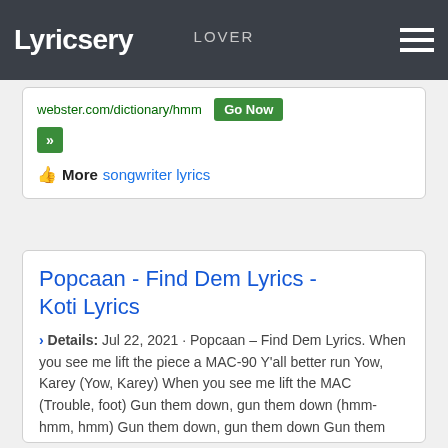Lyricsery  LOVER
webster.com/dictionary/hmm  Go Now  »
👍 More  songwriter lyrics
Popcaan - Find Dem Lyrics - Koti Lyrics
› Details: Jul 22, 2021 · Popcaan – Find Dem Lyrics. When you see me lift the piece a MAC-90 Y'all better run Yow, Karey (Yow, Karey) When you see me lift the MAC (Trouble, foot) Gun them down, gun them down (hmm-hmm, hmm) Gun them down, gun them down Gun them down, gun them down Rifle ah beat like